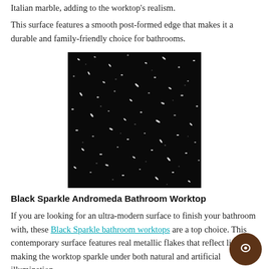Italian marble, adding to the worktop's realism.
This surface features a smooth post-formed edge that makes it a durable and family-friendly choice for bathrooms.
[Figure (photo): Close-up photo of Black Sparkle Andromeda laminate worktop surface — a dark/black background with scattered metallic silver and white flecks resembling sparkling stars.]
Black Sparkle Andromeda Bathroom Worktop
If you are looking for an ultra-modern surface to finish your bathroom with, these Black Sparkle bathroom worktops are a top choice. This contemporary surface features real metallic flakes that reflect light, making the worktop sparkle under both natural and artificial illumination.